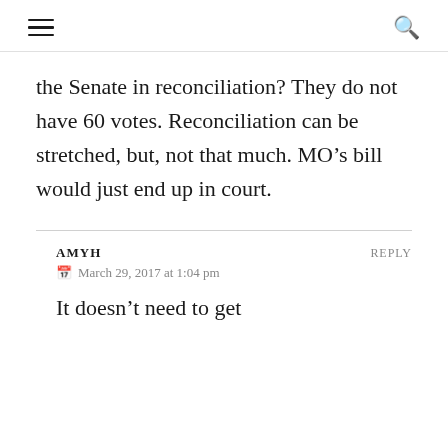☰  🔍
the Senate in reconciliation? They do not have 60 votes. Reconciliation can be stretched, but, not that much. MO's bill would just end up in court.
AMYH  REPLY
March 29, 2017 at 1:04 pm
It doesn't need to get